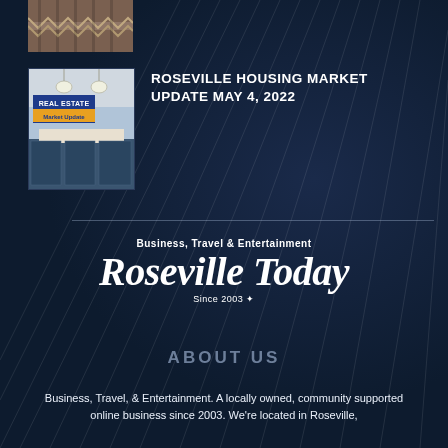[Figure (photo): Top partial image showing zigzag/wood pattern, partially cropped]
[Figure (photo): Real Estate Market Update thumbnail image showing kitchen interior with blue badge overlay]
ROSEVILLE HOUSING MARKET UPDATE MAY 4, 2022
[Figure (logo): Roseville Today logo with tagline 'Business, Travel & Entertainment' and 'Since 2003']
ABOUT US
Business, Travel, & Entertainment. A locally owned, community supported online business since 2003. We're located in Roseville,